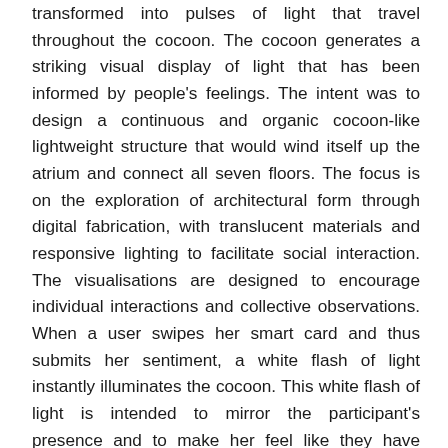transformed into pulses of light that travel throughout the cocoon. The cocoon generates a striking visual display of light that has been informed by people's feelings. The intent was to design a continuous and organic cocoon-like lightweight structure that would wind itself up the atrium and connect all seven floors. The focus is on the exploration of architectural form through digital fabrication, with translucent materials and responsive lighting to facilitate social interaction. The visualisations are designed to encourage individual interactions and collective observations. When a user swipes her smart card and thus submits her sentiment, a white flash of light instantly illuminates the cocoon. This white flash of light is intended to mirror the participant's presence and to make her feel like they have actually transformed their presence and sentiment into a pulse of light. The purpose of the visceral lighting response is to playfully reward participation with a moment of instant gratification, which in turn encourages further interactions with the artwork or with bystanders. The system architecture of the artwork allows for the tracking and displaying of several behaviours. Individual swipe cards such as the London